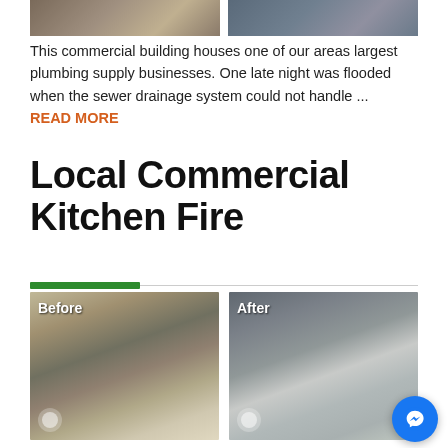[Figure (photo): Two partial before/after photos from a previous article at the top of the page]
This commercial building houses one of our areas largest plumbing supply businesses. One late night was flooded when the sewer drainage system could not handle ... READ MORE
Local Commercial Kitchen Fire
[Figure (photo): Before photo of commercial kitchen fire damage — soot and debris visible on stainless steel equipment]
[Figure (photo): After photo of commercial kitchen — cleaned and restored stainless steel equipment]
Commercial Kitchen fire in a local Kanawha Valley business in West Virginia. Thankfully this fire was small and resulted